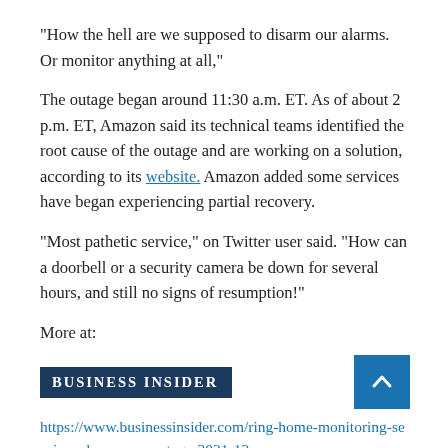“How the hell are we supposed to disarm our alarms. Or monitor anything at all,”
The outage began around 11:30 a.m. ET. As of about 2 p.m. ET, Amazon said its technical teams identified the root cause of the outage and are working on a solution, according to its website. Amazon added some services have began experiencing partial recovery.
“Most pathetic service,” on Twitter user said. “How can a doorbell or a security camera be down for several hours, and still no signs of resumption!”
More at:
[Figure (logo): Business Insider logo — dark navy rectangle with white small-caps bold text reading BUSINESS INSIDER]
https://www.businessinsider.com/ring-home-monitoring-services-down-aws-outage-2021-12